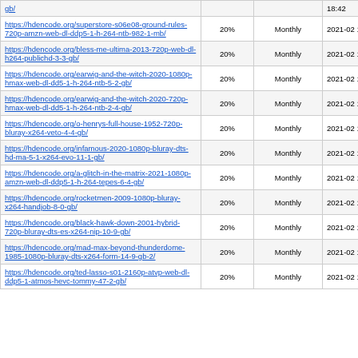| URL | Rate | Frequency | Date |
| --- | --- | --- | --- |
| https://hdencode.org/...gb/ |  |  | 18:42 |
| https://hdencode.org/superstore-s06e08-ground-rules-720p-amzn-web-dl-ddp5-1-h-264-ntb-982-1-mb/ | 20% | Monthly | 2021-02 18:40 |
| https://hdencode.org/bless-me-ultima-2013-720p-web-dl-h264-publichd-3-3-gb/ | 20% | Monthly | 2021-02 18:06 |
| https://hdencode.org/earwig-and-the-witch-2020-1080p-hmax-web-dl-dd5-1-h-264-ntb-5-2-gb/ | 20% | Monthly | 2021-02 17:57 |
| https://hdencode.org/earwig-and-the-witch-2020-720p-hmax-web-dl-dd5-1-h-264-ntb-2-4-gb/ | 20% | Monthly | 2021-02 17:45 |
| https://hdencode.org/o-henrys-full-house-1952-720p-bluray-x264-veto-4-4-gb/ | 20% | Monthly | 2021-02 17:41 |
| https://hdencode.org/infamous-2020-1080p-bluray-dts-hd-ma-5-1-x264-evo-11-1-gb/ | 20% | Monthly | 2021-02 17:06 |
| https://hdencode.org/a-glitch-in-the-matrix-2021-1080p-amzn-web-dl-ddp5-1-h-264-tepes-6-4-gb/ | 20% | Monthly | 2021-02 17:05 |
| https://hdencode.org/rocketmen-2009-1080p-bluray-x264-handjob-8-0-gb/ | 20% | Monthly | 2021-02 16:51 |
| https://hdencode.org/black-hawk-down-2001-hybrid-720p-bluray-dts-es-x264-nip-10-9-gb/ | 20% | Monthly | 2021-02 16:35 |
| https://hdencode.org/mad-max-beyond-thunderdome-1985-1080p-bluray-dts-x264-form-14-9-gb-2/ | 20% | Monthly | 2021-02 16:32 |
| https://hdencode.org/ted-lasso-s01-2160p-atvp-web-dl-ddp5-1-atmos-hevc-tommy-47-2-gb/ | 20% | Monthly | 2021-02 16:32 |